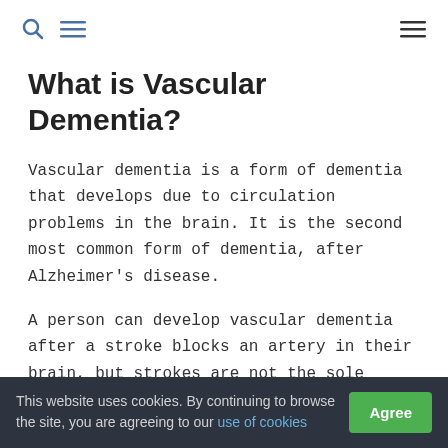navigation icons: search, menu, hamburger
What is Vascular Dementia?
Vascular dementia is a form of dementia that develops due to circulation problems in the brain. It is the second most common form of dementia, after Alzheimer's disease.
A person can develop vascular dementia after a stroke blocks an artery in their brain, but strokes are not the sole cause of vascular dementia. Whether a stroke affects your thinking and reasoning depends on your stroke's severity and location. Vascular dementia more often results from
This website uses cookies. By continuing to browse the site, you are agreeing to our use of cookies  Agree